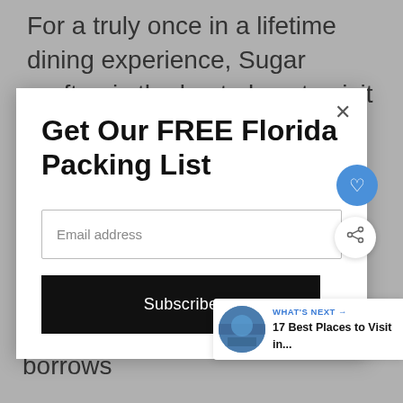For a truly once in a lifetime dining experience, Sugar rooftop is the best place to visit in Miami!
Get Our FREE Florida Packing List
Email address
Subscribe
somewhere else entirely!
WHAT'S NEXT → 17 Best Places to Visit in...
The menu boasts cuisine that borrows